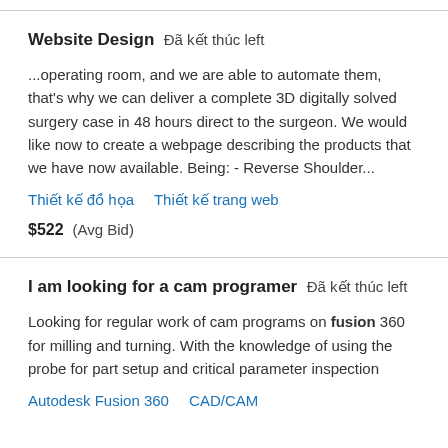Website Design  Đã kết thúc left
...operating room, and we are able to automate them, that's why we can deliver a complete 3D digitally solved surgery case in 48 hours direct to the surgeon. We would like now to create a webpage describing the products that we have now available. Being: - Reverse Shoulder...
Thiết kế đồ họa   Thiết kế trang web
$522  (Avg Bid)
I am looking for a cam programer  Đã kết thúc left
Looking for regular work of cam programs on fusion 360 for milling and turning. With the knowledge of using the probe for part setup and critical parameter inspection
Autodesk Fusion 360   CAD/CAM